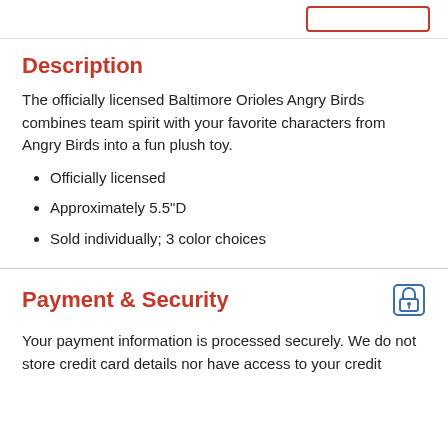Description
The officially licensed Baltimore Orioles Angry Birds combines team spirit with your favorite characters from Angry Birds into a fun plush toy.
Officially licensed
Approximately 5.5"D
Sold individually; 3 color choices
Payment & Security
Your payment information is processed securely. We do not store credit card details nor have access to your credit